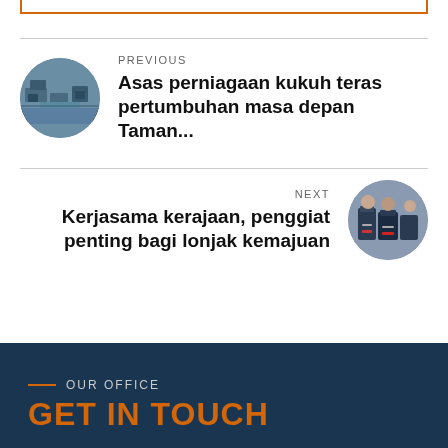[Figure (other): Orange bordered box (bottom portion visible at top of page)]
PREVIOUS
Asas perniagaan kukuh teras pertumbuhan masa depan Taman...
[Figure (photo): Circular thumbnail photo showing an aerial view of buildings/industrial area]
NEXT
Kerjasama kerajaan, penggiat penting bagi lonjak kemajuan
[Figure (photo): Circular thumbnail photo showing people in suits/formal wear with masks]
OUR OFFICE
GET IN TOUCH